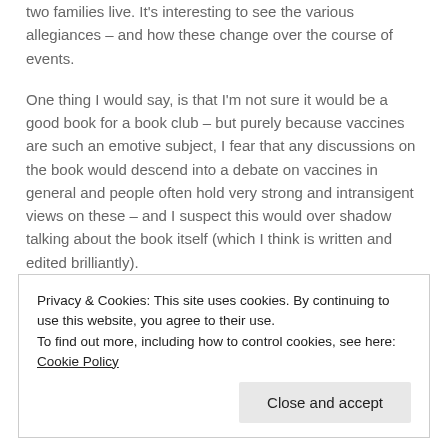two families live. It's interesting to see the various allegiances – and how these change over the course of events.
One thing I would say, is that I'm not sure it would be a good book for a book club – but purely because vaccines are such an emotive subject, I fear that any discussions on the book would descend into a debate on vaccines in general and people often hold very strong and intransigent views on these – and I suspect this would over shadow talking about the book itself (which I think is written and edited brilliantly).
Privacy & Cookies: This site uses cookies. By continuing to use this website, you agree to their use. To find out more, including how to control cookies, see here: Cookie Policy
Close and accept